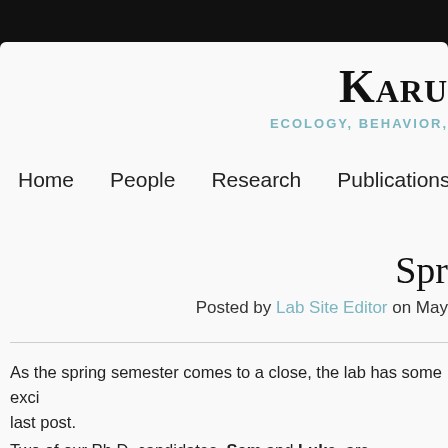KARU... (site title, cropped)
ECOLOGY, BEHAVIOR, (cropped)
Home   People   Research   Publications   Cou...
Spr... (post title, cropped)
Posted by Lab Site Editor on May ...
As the spring semester comes to a close, the lab has some exci... last post.
Two of our Ph.D. candidates, Sam and Luke, are graduating thi...